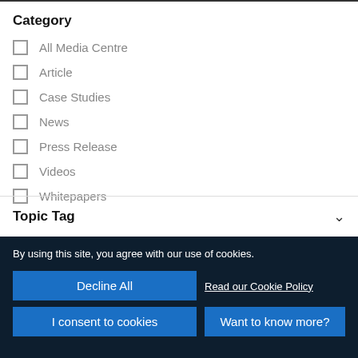Category
All Media Centre
Article
Case Studies
News
Press Release
Videos
Whitepapers
Topic Tag
By using this site, you agree with our use of cookies.
Decline All
Read our Cookie Policy
I consent to cookies
Want to know more?